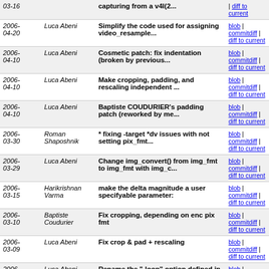| Date | Author | Message | Links |
| --- | --- | --- | --- |
| 2006-03-16 |  | capturing from a v4l(2... | blob | commitdiff | diff to current |
| 2006-04-20 | Luca Abeni | Simplify the code used for assigning video_resample... | blob | commitdiff | diff to current |
| 2006-04-10 | Luca Abeni | Cosmetic patch: fix indentation (broken by previous... | blob | commitdiff | diff to current |
| 2006-04-10 | Luca Abeni | Make cropping, padding, and rescaling independent ... | blob | commitdiff | diff to current |
| 2006-04-10 | Luca Abeni | Baptiste COUDURIER's padding patch (reworked by me... | blob | commitdiff | diff to current |
| 2006-03-30 | Roman Shaposhnik | * fixing -target *dv issues with not setting pix_fmt... | blob | commitdiff | diff to current |
| 2006-03-29 | Luca Abeni | Change img_convert() from img_fmt to img_fmt with img_c... | blob | commitdiff | diff to current |
| 2006-03-15 | Harikrishnan Varma | make the delta magnitude a user specifyable parameter: | blob | commitdiff | diff to current |
| 2006-03-10 | Baptiste Coudurier | Fix cropping, depending on enc pix fmt | blob | commitdiff | diff to current |
| 2006-03-09 | Luca Abeni | Fix crop & pad + rescaling | blob | commitdiff | diff to current |
| 2006-02-28 | Luca Abeni | Rename the "-loop" option defined in ffmpeg.c to "... | blob | commitdiff | diff to |